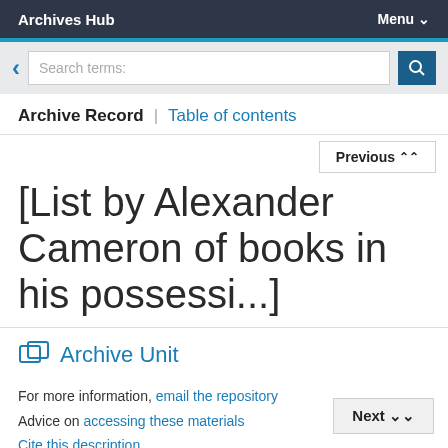Archives Hub | Menu
[List by Alexander Cameron of books in his possessi...]
Archive Unit
For more information, email the repository
Advice on accessing these materials
Cite this description
Permanent link https://archiveshub.jisc.ac.uk/data/...